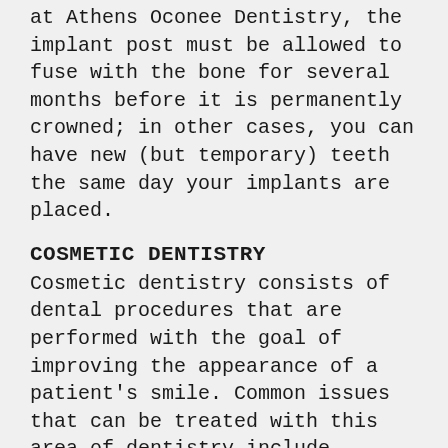at Athens Oconee Dentistry, the implant post must be allowed to fuse with the bone for several months before it is permanently crowned; in other cases, you can have new (but temporary) teeth the same day your implants are placed.
COSMETIC DENTISTRY
Cosmetic dentistry consists of dental procedures that are performed with the goal of improving the appearance of a patient's smile. Common issues that can be treated with this area of dentistry include chipped or stained teeth, gaps in teeth, and missing teeth. At Athens Oconee Dentistry, we offer a variety of cosmetic dentistry